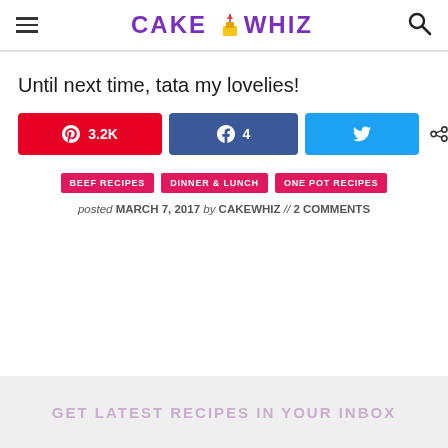CAKE WHIZ
Until next time, tata my lovelies!
[Figure (other): Social share buttons: Pinterest 3.2K, Facebook 4, Twitter (no count), and total 3.2K SHARES]
BEEF RECIPES
DINNER & LUNCH
ONE POT RECIPES
posted MARCH 7, 2017 by CAKEWHIZ // 2 COMMENTS
GET LATEST RECIPES IN YOUR INBOX